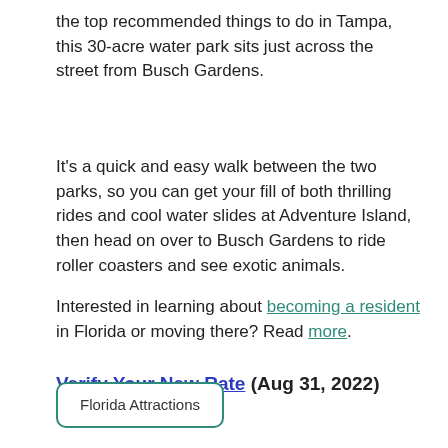the top recommended things to do in Tampa, this 30-acre water park sits just across the street from Busch Gardens.
It's a quick and easy walk between the two parks, so you can get your fill of both thrilling rides and cool water slides at Adventure Island, then head on over to Busch Gardens to ride roller coasters and see exotic animals.
Interested in learning about becoming a resident in Florida or moving there? Read more.
Verify Your New Rate (Aug 31, 2022)
Florida Attractions